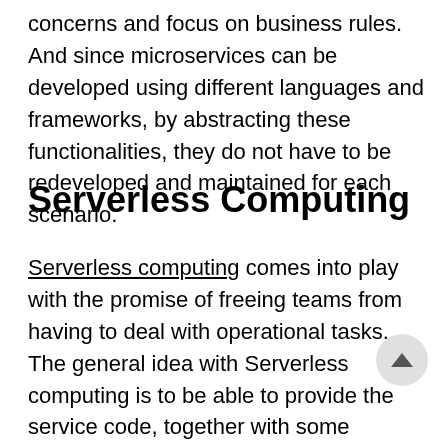concerns and focus on business rules. And since microservices can be developed using different languages and frameworks, by abstracting these functionalities, they do not have to be redeveloped and maintained for each scenario.
Serverless Computing
Serverless computing comes into play with the promise of freeing teams from having to deal with operational tasks. The general idea with Serverless computing is to be able to provide the service code, together with some minimal configuration, and the provider will take care of the operational aspects. Most cloud providers have serverless offerings and